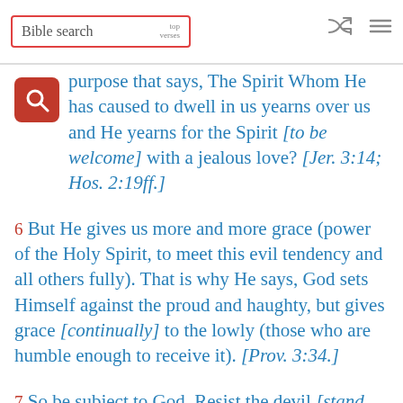Bible search | top verses
purpose that says, The Spirit Whom He has caused to dwell in us yearns over us and He yearns for the Spirit [to be welcome] with a jealous love? [Jer. 3:14; Hos. 2:19ff.]
6 But He gives us more and more grace (power of the Holy Spirit, to meet this evil tendency and all others fully). That is why He says, God sets Himself against the proud and haughty, but gives grace [continually] to the lowly (those who are humble enough to receive it). [Prov. 3:34.]
7 So be subject to God. Resist the devil [stand firm against him]...